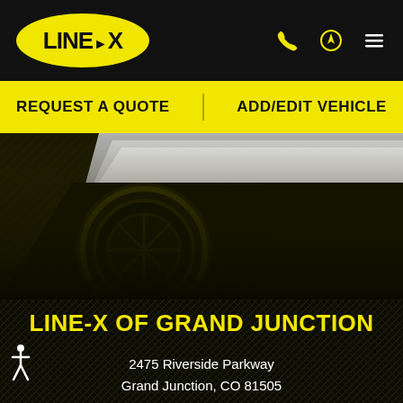[Figure (logo): LINE-X logo in yellow oval on black header bar with phone, location, and menu icons]
REQUEST A QUOTE    ADD/EDIT VEHICLE
[Figure (photo): Dark background with truck bed and tire visible, dark crosshatch textured background]
LINE-X OF GRAND JUNCTION
2475 Riverside Parkway
Grand Junction, CO 81505